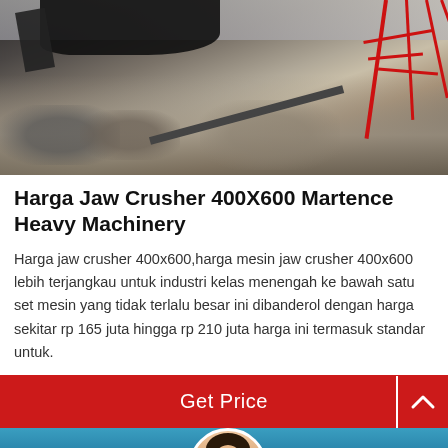[Figure (photo): Aerial/ground-level view of a quarry or mining site with rocky terrain, conveyor structures and red metal framework visible in upper right.]
Harga Jaw Crusher 400X600 Martence Heavy Machinery
Harga jaw crusher 400x600,harga mesin jaw crusher 400x600 lebih terjangkau untuk industri kelas menengah ke bawah satu set mesin yang tidak terlalu besar ini dibanderol dengan harga sekitar rp 165 juta hingga rp 210 juta harga ini termasuk standar untuk.
Get Price
[Figure (photo): Footer bar with blue/dark blue gradient background showing 'Leave Message' on left, a circular avatar photo of a woman with a headset in the center, and 'Chat Online' on the right.]